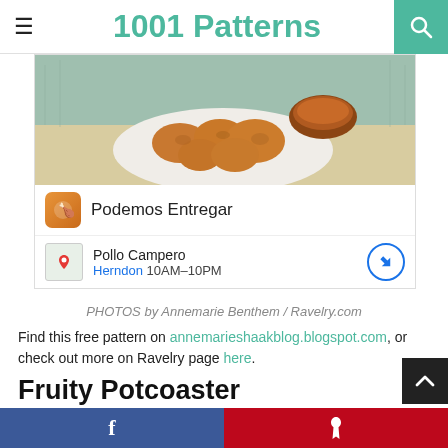1001 Patterns
[Figure (photo): Advertisement showing fried chicken nuggets with dipping sauce. Below is a Google ad for Pollo Campero in Herndon, 10AM-10PM, with a Podemos Entregar brand row.]
PHOTOS by Annemarie Benthem / Ravelry.com
Find this free pattern on annemarieshaakblog.blogspot.com, or check out more on Ravelry page here.
Fruity Potcoaster
Designed by Durable Yarn